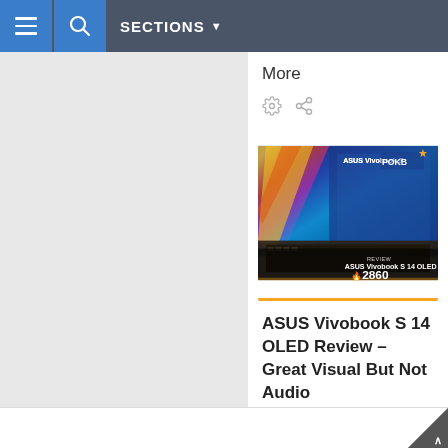SECTIONS
More
ASUS Vivobook S 14 OLED Review – Great Visual But Not Audio
[Figure (screenshot): ASUS Vivobook S 14 OLED laptop thumbnail with score overlay showing 2860 and a star rating badge]
VIEW ALL